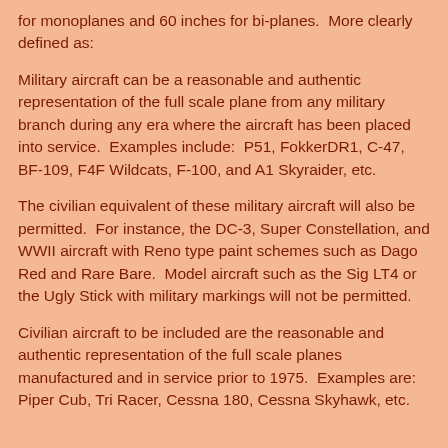for monoplanes and 60 inches for bi-planes.  More clearly defined as:
Military aircraft can be a reasonable and authentic representation of the full scale plane from any military branch during any era where the aircraft has been placed into service.  Examples include:  P51, FokkerDR1, C-47, BF-109, F4F Wildcats, F-100, and A1 Skyraider, etc.
The civilian equivalent of these military aircraft will also be permitted.  For instance, the DC-3, Super Constellation, and WWII aircraft with Reno type paint schemes such as Dago Red and Rare Bare.  Model aircraft such as the Sig LT4 or the Ugly Stick with military markings will not be permitted.
Civilian aircraft to be included are the reasonable and authentic representation of the full scale planes manufactured and in service prior to 1975.  Examples are: Piper Cub, Tri Racer, Cessna 180, Cessna Skyhawk, etc.